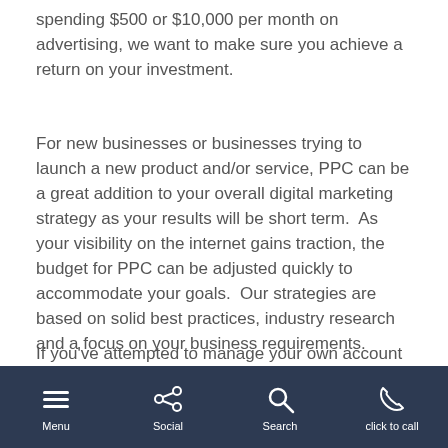spending $500 or $10,000 per month on advertising, we want to make sure you achieve a return on your investment.
For new businesses or businesses trying to launch a new product and/or service, PPC can be a great addition to your overall digital marketing strategy as your results will be short term.  As your visibility on the internet gains traction, the budget for PPC can be adjusted quickly to accommodate your goals.  Our strategies are based on solid best practices, industry research and a focus on your business requirements.
If you've attempted to manage your own account in the past without good results, we can provide a no-cost review of your past campaigns and give you an idea of the improvements possible. We can help you understand why your campaign didn't deliver the desired results.
Menu  Social  Search  click to call